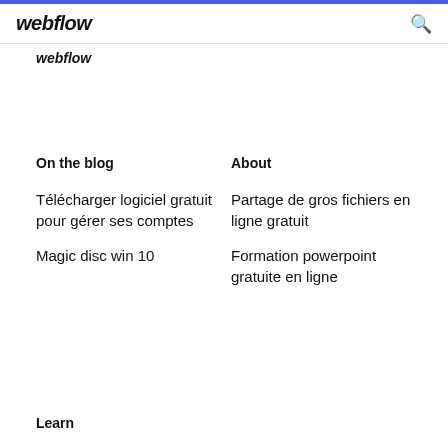webflow
webflow
On the blog
About
Télécharger logiciel gratuit pour gérer ses comptes
Magic disc win 10
Partage de gros fichiers en ligne gratuit
Formation powerpoint gratuite en ligne
Learn